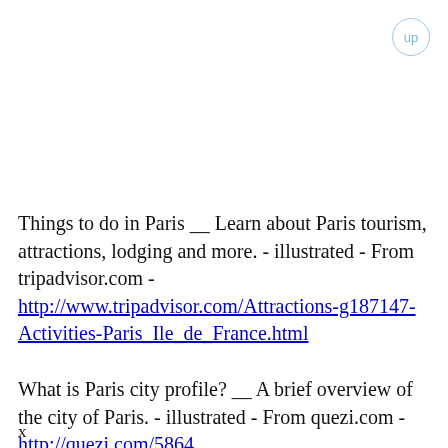up
Things to do in Paris __ Learn about Paris tourism, attractions, lodging and more. - illustrated - From tripadvisor.com - http://www.tripadvisor.com/Attractions-g187147-Activities-Paris_Ile_de_France.html
What is Paris city profile? __ A brief overview of the city of Paris. - illustrated - From quezi.com - http://quezi.com/5864
x